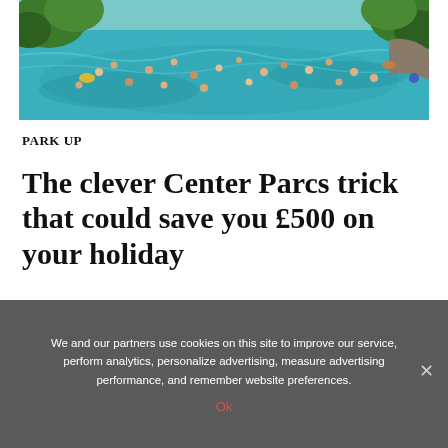[Figure (photo): Aerial view of a busy outdoor pool/wave pool at a holiday park, with many swimmers, surrounded by lush green trees. Turquoise/teal water with people visible throughout.]
PARK UP
The clever Center Parcs trick that could save you £500 on your holiday
We and our partners use cookies on this site to improve our service, perform analytics, personalize advertising, measure advertising performance, and remember website preferences.
Ok